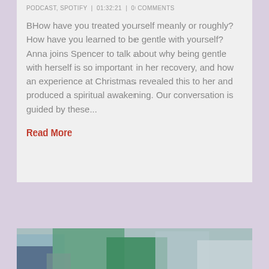PODCAST, SPOTIFY  |  01:32:21  |  0 COMMENTS
BHow have you treated yourself meanly or roughly? How have you learned to be gentle with yourself? Anna joins Spencer to talk about why being gentle with herself is so important in her recovery, and how an experience at Christmas revealed this to her and produced a spiritual awakening. Our conversation is guided by these...
Read More
[Figure (photo): Partial view of an outdoor photo at the bottom of the page, showing people with colourful clothing/bags in an urban environment]